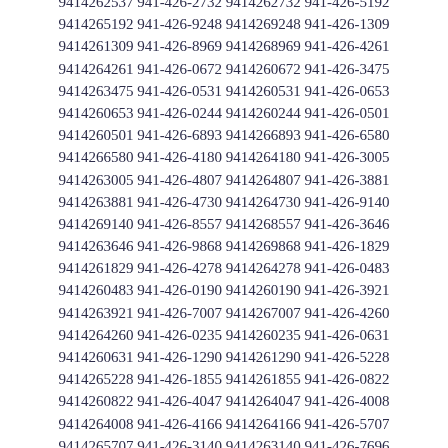9414261843 941-426-6362 9414266362 941-426-2421
9414262421 941-426-8525 9414268525 941-426-2537
9414262537 941-426-2732 9414262732 941-426-5192
9414265192 941-426-9248 9414269248 941-426-1309
9414261309 941-426-8969 9414268969 941-426-4261
9414264261 941-426-0672 9414260672 941-426-3475
9414263475 941-426-0531 9414260531 941-426-0653
9414260653 941-426-0244 9414260244 941-426-0501
9414260501 941-426-6893 9414266893 941-426-6580
9414266580 941-426-4180 9414264180 941-426-3005
9414263005 941-426-4807 9414264807 941-426-3881
9414263881 941-426-4730 9414264730 941-426-9140
9414269140 941-426-8557 9414268557 941-426-3646
9414263646 941-426-9868 9414269868 941-426-1829
9414261829 941-426-4278 9414264278 941-426-0483
9414260483 941-426-0190 9414260190 941-426-3921
9414263921 941-426-7007 9414267007 941-426-4260
9414264260 941-426-0235 9414260235 941-426-0631
9414260631 941-426-1290 9414261290 941-426-5228
9414265228 941-426-1855 9414261855 941-426-0822
9414260822 941-426-4047 9414264047 941-426-4008
9414264008 941-426-4166 9414264166 941-426-5707
9414265707 941-426-3140 9414263140 941-426-7696
9414267696 941-426-6608 9414266608 941-426-4150
9414264150 941-426-4568 9414264568 941-426-1139